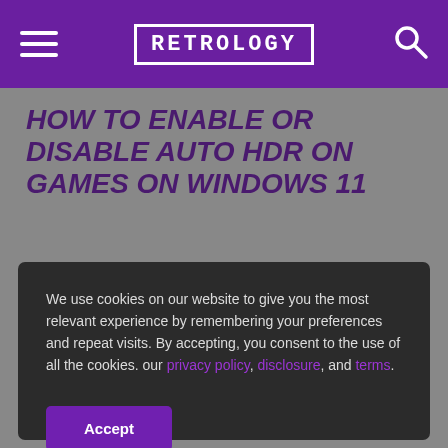RETROLOGY
HOW TO ENABLE OR DISABLE AUTO HDR ON GAMES ON WINDOWS 11
We use cookies on our website to give you the most relevant experience by remembering your preferences and repeat visits. By accepting, you consent to the use of all the cookies. our privacy policy, disclosure, and terms.
Accept
TECH
Guide: How to Enable or Disable Auto HDR on Windows 11